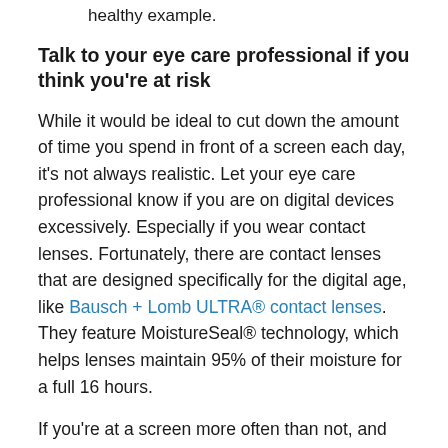time, and reducing your own screen time to set a healthy example.
Talk to your eye care professional if you think you're at risk
While it would be ideal to cut down the amount of time you spend in front of a screen each day, it's not always realistic. Let your eye care professional know if you are on digital devices excessively. Especially if you wear contact lenses. Fortunately, there are contact lenses that are designed specifically for the digital age, like Bausch + Lomb ULTRA® contact lenses. They feature MoistureSeal® technology, which helps lenses maintain 95% of their moisture for a full 16 hours.
If you're at a screen more often than not, and you wear contact lenses, be sure to talk to your eye doctor about which lenses are best for you.
Bausch + Lomb ULTRA and MoistureSeal are trademarks